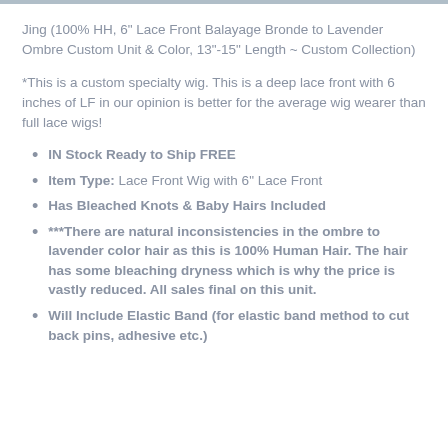Jing (100% HH, 6" Lace Front Balayage Bronde to Lavender Ombre Custom Unit & Color, 13"-15" Length ~ Custom Collection)
*This is a custom specialty wig. This is a deep lace front with 6 inches of LF in our opinion is better for the average wig wearer than full lace wigs!
IN Stock Ready to Ship FREE
Item Type: Lace Front Wig with 6" Lace Front
Has Bleached Knots & Baby Hairs Included
***There are natural inconsistencies in the ombre to lavender color hair as this is 100% Human Hair. The hair has some bleaching dryness which is why the price is vastly reduced. All sales final on this unit.
Will Include Elastic Band (for elastic band method to cut back pins, adhesive etc.)